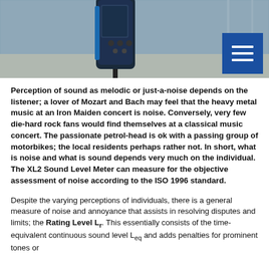[Figure (photo): Photo of a handheld sound level meter device (XL2) held up outdoors against a chain-link fence background. A blue menu button icon is overlaid in the top-right corner.]
Perception of sound as melodic or just-a-noise depends on the listener; a lover of Mozart and Bach may feel that the heavy metal music at an Iron Maiden concert is noise. Conversely, very few die-hard rock fans would find themselves at a classical music concert. The passionate petrol-head is ok with a passing group of motorbikes; the local residents perhaps rather not. In short, what is noise and what is sound depends very much on the individual. The XL2 Sound Level Meter can measure for the objective assessment of noise according to the ISO 1996 standard.
Despite the varying perceptions of individuals, there is a general measure of noise and annoyance that assists in resolving disputes and limits; the Rating Level Lr. This essentially consists of the time-equivalent continuous sound level Leq and adds penalties for prominent tones or